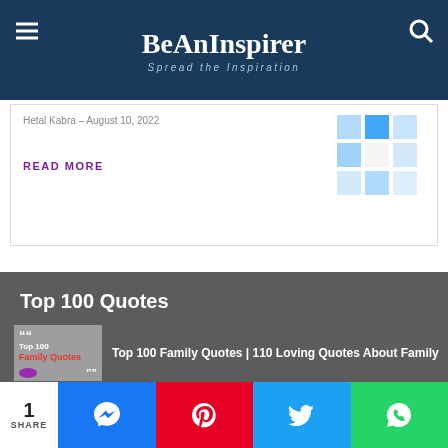BeAnInspirer — Spread the Inspiration
Hetal Kabra – August 10, 2022
READ MORE
[Figure (screenshot): Windows-style logo grid image in blue tiles]
Top 100 Quotes
[Figure (illustration): Top 100 Family Quotes thumbnail with red text on gray background]
Top 100 Family Quotes | 110 Loving Quotes About Family
[Figure (illustration): Top 100 Friendship Quotes thumbnail with red text on dark background]
Top 100 Friendship Quotes | True Friends Quotes To Share
1 SHARE — Messenger, Pinterest, Twitter, WhatsApp share buttons